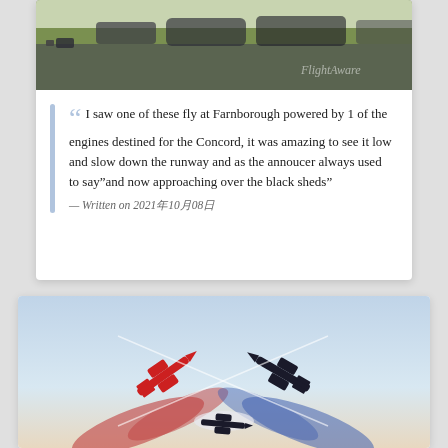[Figure (photo): Photograph of military aircraft on an airfield tarmac with green grass and other aircraft/vehicles visible. FlightAware watermark visible.]
““ I saw one of these fly at Farnborough powered by 1 of the engines destined for the Concord, it was amazing to see it low and slow down the runway and as the annoucer always used to say”and now approaching over the black sheds”
— Written on 2021年10月08日
[Figure (photo): Photograph of Red Arrows aerobatic display team jets performing a crossover maneuver with red, white, and blue smoke trails against a light sky background.]